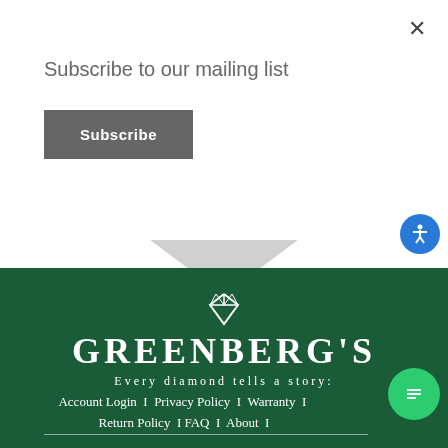Subscribe to our mailing list
Subscribe
[Figure (logo): Greenberg's jewelry logo with diamond icon and text 'GREENBERG'S' and tagline 'Every diamond tells a story:']
Account Login  I  Privacy Policy  I  Warranty  I  Return Policy  I FAQ  I  About  I